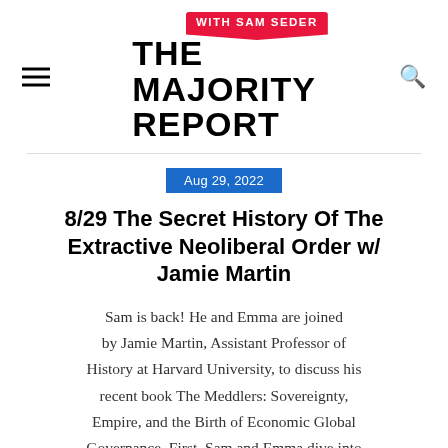THE MAJORITY REPORT WITH SAM SEDER
Aug 29, 2022
8/29 The Secret History Of The Extractive Neoliberal Order w/ Jamie Martin
Sam is back! He and Emma are joined by Jamie Martin, Assistant Professor of History at Harvard University, to discuss his recent book The Meddlers: Sovereignty, Empire, and the Birth of Economic Global Governance. First, Sam and Emma dive into developments in Ukraine as the UN sends in Nuclear ...